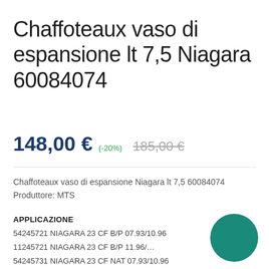Chaffoteaux vaso di espansione lt 7,5 Niagara 60084074
148,00 € (-20%) 185,00 €
Chaffoteaux vaso di espansione Niagara lt 7,5 60084074
Produttore: MTS
APPLICAZIONE
54245721 NIAGARA 23 CF B/P 07.93/10.96
11245721 NIAGARA 23 CF B/P 11.96/…
54245731 NIAGARA 23 CF NAT 07.93/10.96
11245731 NIAGARA 23 CF NAT 11.96/…